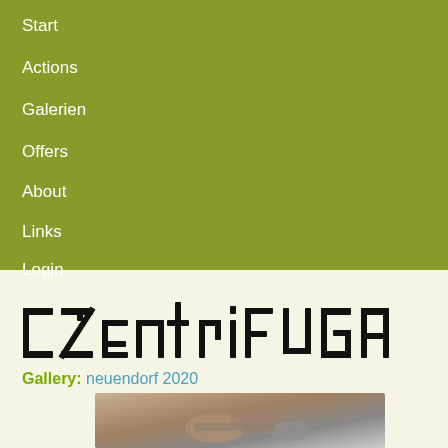Start
Actions
Galerien
Offers
About
Links
Login
Calendar
[Figure (logo): Czentrifuga logo in black hand-drawn block lettering on cream background]
Gallery: neuendorf 2020
[Figure (photo): Person working with hands and tools, wearing grey gloves, outdoors on ground]